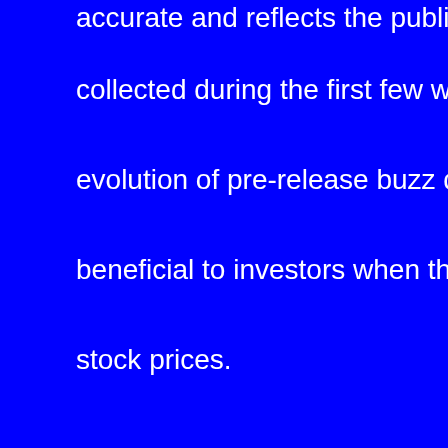accurate and reflects the public's needs. Traditionally, comp collected during the first few weeks of a product's lifecycle t evolution of pre-release buzz data, a product's success can beneficial to investors when they plan to buy a new product stock prices. Even though pre-release buzz is still an important part of p tool in predicting the stock price of a new product. In fact, it buzz of a new product to predict its stock price. By analyzin can use this information to make better informed decisions information is essential for successful product marketing.